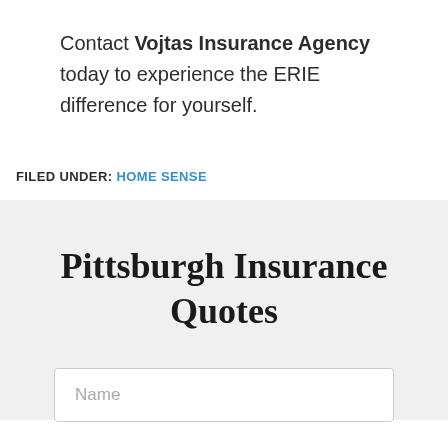Contact Vojtas Insurance Agency today to experience the ERIE difference for yourself.
FILED UNDER: HOME SENSE
Pittsburgh Insurance Quotes
Name